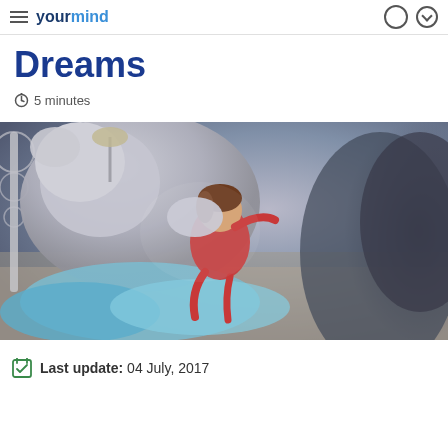yourmind
Dreams
5 minutes
[Figure (illustration): Illustrated image of a child in a red outfit sleeping or dreaming, being embraced by a large gentle grey creature, with teal/blue pillows and a decorative iron headboard in the background. The scene has a dreamy, storybook aesthetic.]
Last update: 04 July, 2017